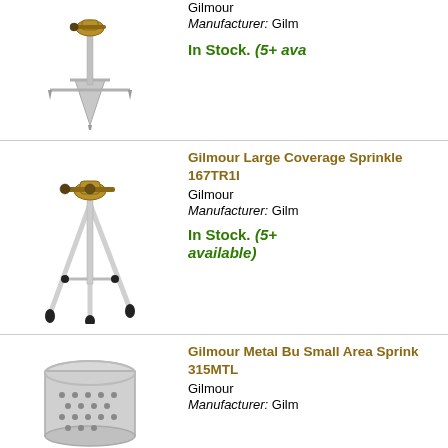[Figure (photo): Gilmour sprinkler on ground stake, silver/metal spike base with brass sprinkler head on top]
Gilmour
Manufacturer: Gilm
In Stock. (5+ ava
[Figure (photo): Gilmour Large Coverage Sprinkler 167TR1I on white tripod stand with brass rotating head]
Gilmour Large Coverage Sprinkler 167TR1I
Gilmour
Manufacturer: Gilm
In Stock. (5+ available)
[Figure (photo): Gilmour Metal Bucket Small Area Sprinkler 315MTL, round perforated metal cylindrical sprinkler]
Gilmour Metal Bu Small Area Sprink 315MTL
Gilmour
Manufacturer: Gilm